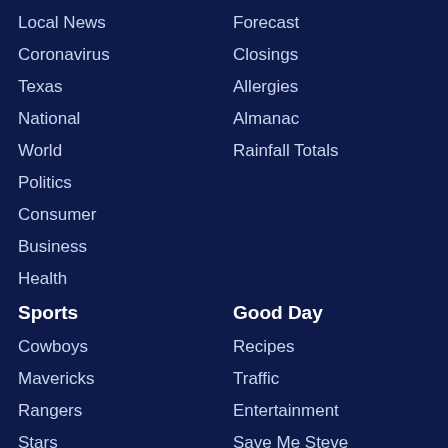Local News
Coronavirus
Texas
National
World
Politics
Consumer
Business
Health
Forecast
Closings
Allergies
Almanac
Rainfall Totals
Sports
Cowboys
Mavericks
Rangers
Stars
FC Dallas
Wings
Colleges
Good Day
Recipes
Traffic
Entertainment
Save Me Steve
Children's Hospital Heroes
Birthdays